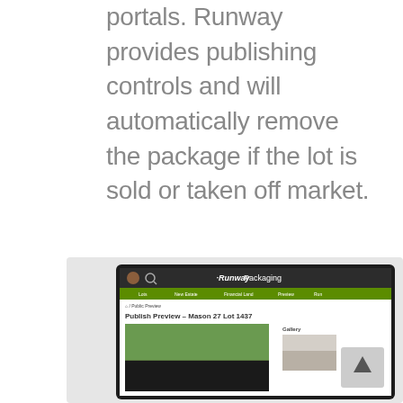portals. Runway provides publishing controls and will automatically remove the package if the lot is sold or taken off market.
[Figure (screenshot): Screenshot of a tablet showing the Runway Packaging web application, with a 'Publish Preview – Mason 27 Lot 1437' page visible, including navigation bar, green menu bar, breadcrumb, property photo and gallery sidebar. A scroll-to-top button is overlaid in the bottom right.]